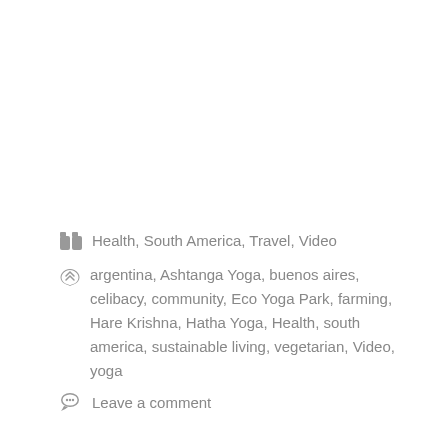Health, South America, Travel, Video
argentina, Ashtanga Yoga, buenos aires, celibacy, community, Eco Yoga Park, farming, Hare Krishna, Hatha Yoga, Health, south america, sustainable living, vegetarian, Video, yoga
Leave a comment